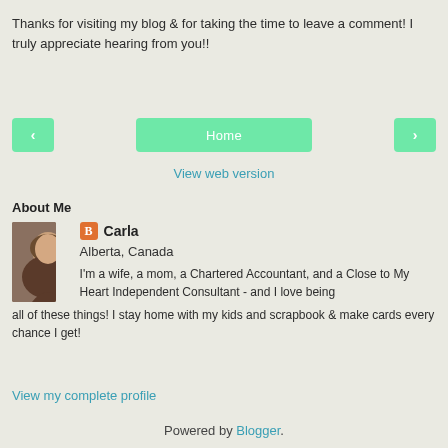Thanks for visiting my blog & for taking the time to leave a comment! I truly appreciate hearing from you!!
[Figure (infographic): Navigation bar with three green buttons: left arrow, Home, right arrow]
View web version
About Me
[Figure (photo): Profile photo of Carla, a woman with brown hair]
Carla
Alberta, Canada
I'm a wife, a mom, a Chartered Accountant, and a Close to My Heart Independent Consultant - and I love being all of these things! I stay home with my kids and scrapbook & make cards every chance I get!
View my complete profile
Powered by Blogger.